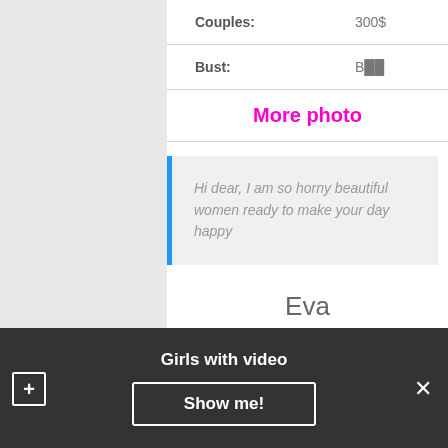| Couples: | 300$ |
| Bust: | B•• |
More photo
Hi dear, I am so horny beautiful women ready to make your day happy
Eva
| City: | Spanking (giving) Imatra |
Girls with video
Show me!